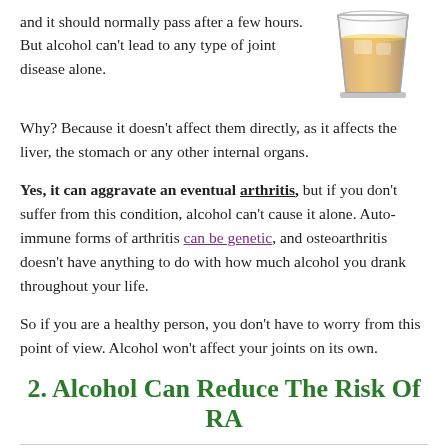and it should normally pass after a few hours. But alcohol can't lead to any type of joint disease alone.
[Figure (photo): A glass of whiskey/amber alcohol on a white background]
Why? Because it doesn't affect them directly, as it affects the liver, the stomach or any other internal organs.
Yes, it can aggravate an eventual arthritis, but if you don't suffer from this condition, alcohol can't cause it alone. Auto-immune forms of arthritis can be genetic, and osteoarthritis doesn't have anything to do with how much alcohol you drank throughout your life.
So if you are a healthy person, you don't have to worry from this point of view. Alcohol won't affect your joints on its own.
2. Alcohol Can Reduce The Risk Of RA
According to a study conducted in 2015, a moderate consumption of